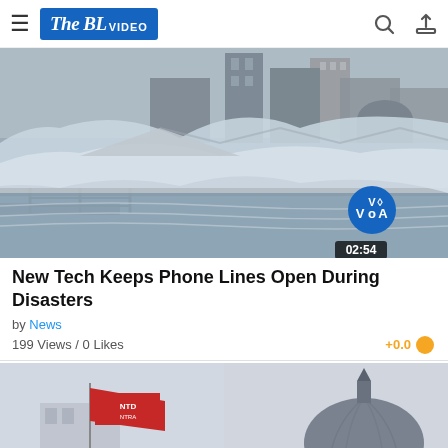The BL VIDEO
[Figure (screenshot): Video thumbnail showing a storm surge or tsunami flooding a coastal area with buildings in the background. VOA logo and duration 02:54 overlay visible.]
New Tech Keeps Phone Lines Open During Disasters
by News
199 Views / 0 Likes
+0.0
[Figure (screenshot): Split thumbnail: left side shows a red flag in front of a building; right side shows a domed building (San Francisco City Hall) against a grey sky.]